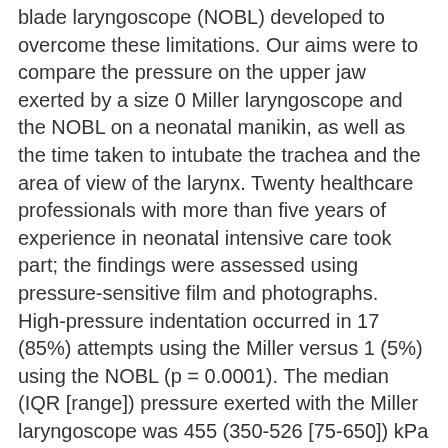blade laryngoscope (NOBL) developed to overcome these limitations. Our aims were to compare the pressure on the upper jaw exerted by a size 0 Miller laryngoscope and the NOBL on a neonatal manikin, as well as the time taken to intubate the trachea and the area of view of the larynx. Twenty healthcare professionals with more than five years of experience in neonatal intensive care took part; the findings were assessed using pressure-sensitive film and photographs. High-pressure indentation occurred in 17 (85%) attempts using the Miller versus 1 (5%) using the NOBL (p = 0.0001). The median (IQR [range]) pressure exerted with the Miller laryngoscope was 455 (350-526 [75-650]) kPa vs 80 (0-133 [0-195]) kPa with the NOBL (p < 0.0001). The area of pressure exerted with the Miller laryngoscope was 68 (32-82 [0-110]) mm(2) vs 8 (0-23 [0-40]) mm(2) with the NOBL (p < 0.0001). The time to intubate was